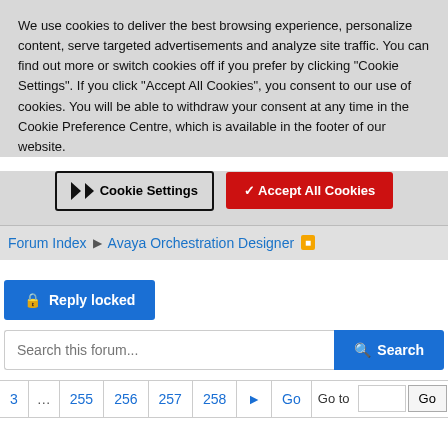We use cookies to deliver the best browsing experience, personalize content, serve targeted advertisements and analyze site traffic. You can find out more or switch cookies off if you prefer by clicking "Cookie Settings". If you click "Accept All Cookies", you consent to our use of cookies. You will be able to withdraw your consent at any time in the Cookie Preference Centre, which is available in the footer of our website.
[Figure (screenshot): Two buttons: 'Cookie Settings' (outlined button with arrow icon) and 'Accept All Cookies' (red filled button with checkmark)]
Forum Index ▶ Avaya Orchestration Designer
[Figure (screenshot): Blue 'Reply locked' button with lock icon]
[Figure (screenshot): Search input field with placeholder 'Search this forum...' and blue Search button]
3 ... 255 256 257 258 ▶ Go  Go to [input] Go